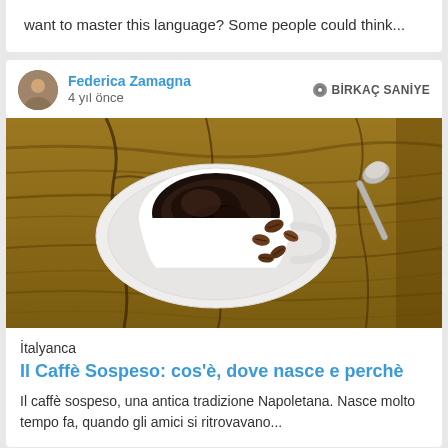want to master this language? Some people could think...
Federica Zamagna
4 yıl önce
BİRKAÇ SANİYE
[Figure (photo): Overhead view of a white coffee cup with black coffee on a saucer with coffee beans scattered around it, placed on a wooden surface. A silver spoon is visible to the upper right.]
İtalyanca
Il Caffè Sospeso: cos'è, dove nasce e perchè
Il caffè sospeso, una antica tradizione Napoletana. Nasce molto tempo fa, quando gli amici si ritrovavano...